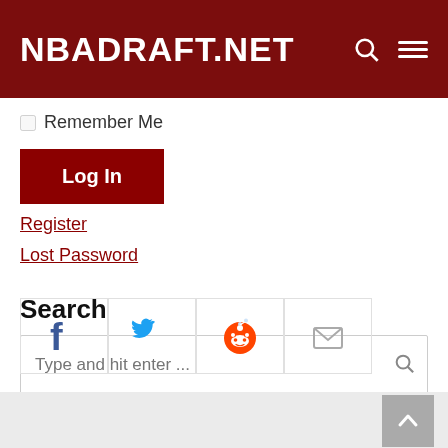NBADRAFT.NET
Remember Me
Log In
Register
Lost Password
Search
Type and hit enter ...
[Figure (other): Social media icons: Facebook, Twitter, Reddit, Email]
Scroll to top button